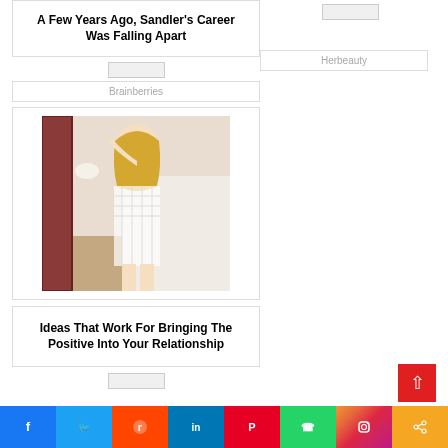A Few Years Ago, Sandler's Career Was Falling Apart
Brainberries
[Figure (photo): Photo of a woman in a white mesh outfit in a bedroom]
Ideas That Work For Bringing The Positive Into Your Relationship
Herbeauty
Social share bar: Facebook, Twitter, Reddit, LinkedIn, Pinterest, WhatsApp, Instagram, Share